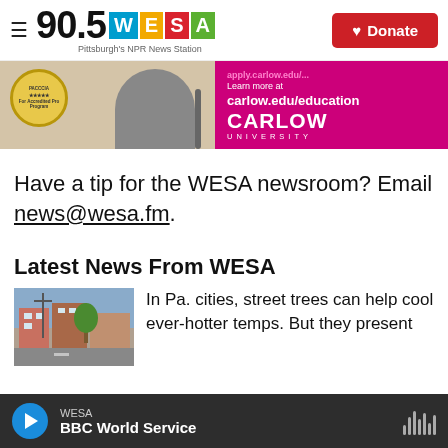90.5 WESA — Pittsburgh's NPR News Station | Donate
[Figure (photo): Advertisement banner for Carlow University education program with a student and pink background showing carlow.edu/education]
Have a tip for the WESA newsroom? Email news@wesa.fm.
Latest News From WESA
[Figure (photo): Street scene with trees and buildings in a Pennsylvania city]
In Pa. cities, street trees can help cool ever-hotter temps. But they present
WESA — BBC World Service (player bar)